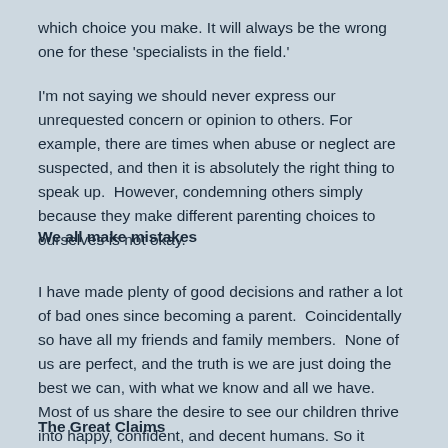which choice you make. It will always be the wrong one for these 'specialists in the field.'
I'm not saying we should never express our unrequested concern or opinion to others. For example, there are times when abuse or neglect are suspected, and then it is absolutely the right thing to speak up.  However, condemning others simply because they make different parenting choices to ourselves is not okay.
We all make mistakes
I have made plenty of good decisions and rather a lot of bad ones since becoming a parent.  Coincidentally so have all my friends and family members.  None of us are perfect, and the truth is we are just doing the best we can, with what we know and all we have. Most of us share the desire to see our children thrive into happy, confident, and decent humans. So it frustrates me to the core when I see devoted parents hurt by negative comments from people who should know better.
The Great Claims